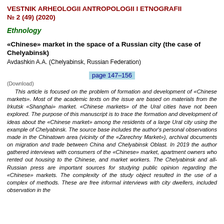VESTNIK ARHEOLOGII ANTROPOLOGII I ETNOGRAFII
№ 2 (49)  (2020)
Ethnology
«Chinese» market in the space of a Russian city (the case of Chelyabinsk)
Avdashkin A.A. (Chelyabinsk, Russian Federation)
page 147–156
(Download)
This article is focused on the problem of formation and development of «Chinese markets». Most of the academic texts on the issue are based on materials from the Irkutsk «Shanghai» market. «Chinese markets» of the Ural cities have not been explored. The purpose of this manuscript is to trace the formation and development of ideas about the «Chinese market» among the residents of a large Ural city using the example of Chelyabinsk. The source base includes the author's personal observations made in the Chinatown area (vicinity of the «Zarechny Market»), archival documents on migration and trade between China and Chelyabinsk Oblast. In 2019 the author gathered interviews with consumers of the «Chinese» market, apartment owners who rented out housing to the Chinese, and market workers. The Chelyabinsk and all-Russian press are important sources for studying public opinion regarding the «Chinese» markets. The complexity of the study object resulted in the use of a complex of methods. These are free informal interviews with city dwellers, included observation in the